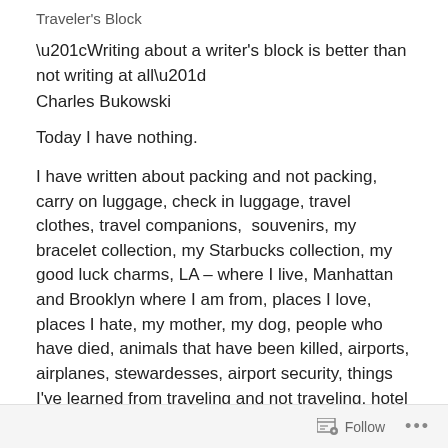Traveler's Block
“Writing about a writer’s block is better than not writing at all”
Charles Bukowski
Today I have nothing.
I have written about packing and not packing, carry on luggage, check in luggage, travel clothes, travel companions,  souvenirs, my bracelet collection, my Starbucks collection, my good luck charms, LA – where I live, Manhattan and Brooklyn where I am from, places I love, places I hate, my mother, my dog, people who have died, animals that have been killed, airports, airplanes, stewardesses, airport security, things I’ve learned from traveling and not traveling, hotel rooms and things Ive left
Follow ...